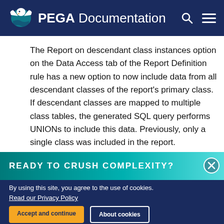PEGA Documentation
The Report on descendant class instances option on the Data Access tab of the Report Definition rule has a new option to now include data from all descendant classes of the report's primary class. If descendant classes are mapped to multiple class tables, the generated SQL query performs UNIONs to include this data. Previously, only a single class was included in the report.
READY TO CRUSH COMPLEXITY?
By using this site, you agree to the use of cookies. Read our Privacy Policy
Accept and continue   About cookies